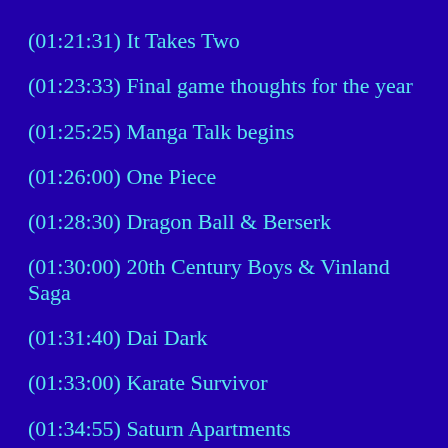(01:21:31) It Takes Two
(01:23:33) Final game thoughts for the year
(01:25:25) Manga Talk begins
(01:26:00) One Piece
(01:28:30) Dragon Ball & Berserk
(01:30:00) 20th Century Boys & Vinland Saga
(01:31:40) Dai Dark
(01:33:00) Karate Survivor
(01:34:55) Saturn Apartments